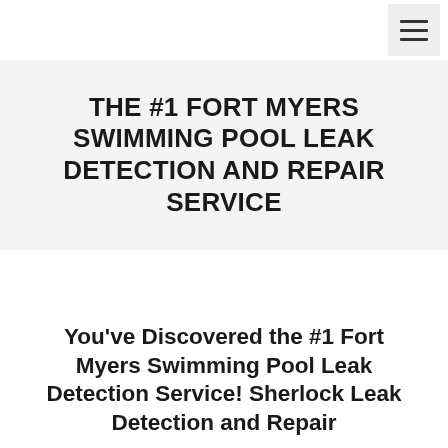[Figure (other): Navigation bar with hamburger menu icon in top right corner]
THE #1 FORT MYERS SWIMMING POOL LEAK DETECTION AND REPAIR SERVICE
You’ve Discovered the #1 Fort Myers Swimming Pool Leak Detection Service! Sherlock Leak Detection and Repair